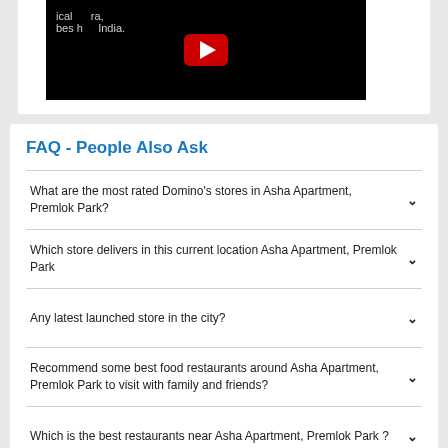[Figure (screenshot): YouTube video thumbnail with black background and YouTube play button in center, partial text visible]
FAQ - People Also Ask
What are the most rated Domino's stores in Asha Apartment, Premlok Park?
Which store delivers in this current location Asha Apartment, Premlok Park
Any latest launched store in the city?
Recommend some best food restaurants around Asha Apartment, Premlok Park to visit with family and friends?
Which is the best restaurants near Asha Apartment, Premlok Park ?
Recommend Some Best Pizza Restaurants Near me ?